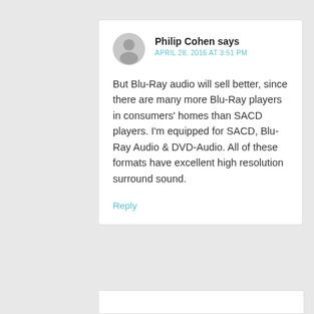Philip Cohen says
APRIL 28, 2016 AT 3:51 PM
But Blu-Ray audio will sell better, since there are many more Blu-Ray players in consumers' homes than SACD players. I'm equipped for SACD, Blu-Ray Audio & DVD-Audio. All of these formats have excellent high resolution surround sound.
Reply